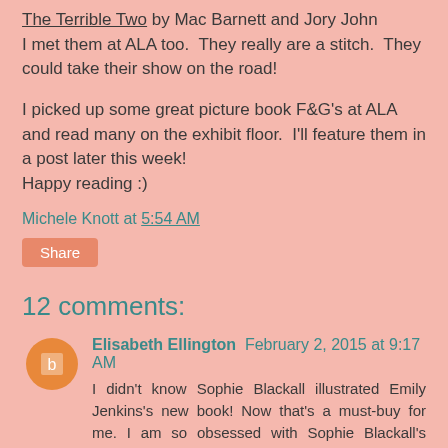The Terrible Two by Mac Barnett and Jory John
I met them at ALA too.  They really are a stitch.  They could take their show on the road!
I picked up some great picture book F&G's at ALA and read many on the exhibit floor.  I'll feature them in a post later this week!
Happy reading :)
Michele Knott at 5:54 AM
Share
12 comments:
Elisabeth Ellington  February 2, 2015 at 9:17 AM
I didn't know Sophie Blackall illustrated Emily Jenkins's new book! Now that's a must-buy for me. I am so obsessed with Sophie Blackall's work. I'm eventually going to get to Greenglass House but I'm reading another book right now that sounds very similar in terms of pacing, lots of